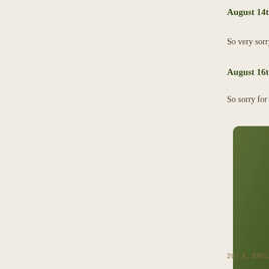August 14th, 2
So very sorry
August 16th, 2
So sorry for y
[Figure (photo): A dark olive/forest green rectangular card or book cover, partially visible on the right side of the page, with rounded corners and a subtle shadow.]
207 E. BROAD